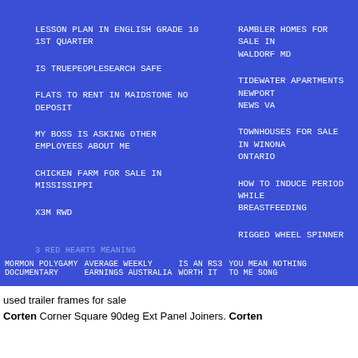LESSON PLAN IN ENGLISH GRADE 10 1ST QUARTER
IS TRUEPEOPLESEARCH SAFE
FLATS TO RENT IN MAIDSTONE NO DEPOSIT
MY BOSS IS ASKING OTHER EMPLOYEES ABOUT ME
CHICKEN FARM FOR SALE IN MISSISSIPPI
X3M RWD
RAMBLER HOMES FOR SALE IN WALDORF MD
TIDEWATER APARTMENTS NEWPORT NEWS VA
TOWNHOUSES FOR SALE IN WINONA ONTARIO
HOW TO INDUCE PERIOD WHILE BREASTFEEDING
RIGGED WHEEL SPINNER
3 RED HEARTS MEANING
MORMON POLYGAMY DOCUMENTARY   AVERAGE WEEKLY EARNINGS AUSTRALIA   IS AN RS3 WORTH IT   YOU MEAN NOTHING TO ME SONG
used trailer frames for sale
Corten Corner Square 90deg Ext Panel Joiners. Corten